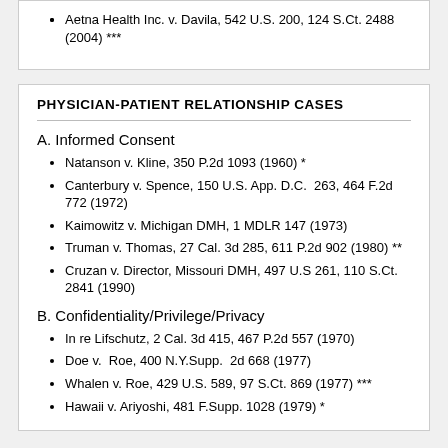Aetna Health Inc. v. Davila, 542 U.S. 200, 124 S.Ct. 2488 (2004) ***
PHYSICIAN-PATIENT RELATIONSHIP CASES
A. Informed Consent
Natanson v. Kline, 350 P.2d 1093 (1960) *
Canterbury v. Spence, 150 U.S. App. D.C.  263, 464 F.2d 772 (1972)
Kaimowitz v. Michigan DMH, 1 MDLR 147 (1973)
Truman v. Thomas, 27 Cal. 3d 285, 611 P.2d 902 (1980) **
Cruzan v. Director, Missouri DMH, 497 U.S 261, 110 S.Ct.  2841 (1990)
B. Confidentiality/Privilege/Privacy
In re Lifschutz, 2 Cal. 3d 415, 467 P.2d 557 (1970)
Doe v.  Roe, 400 N.Y.Supp.  2d 668 (1977)
Whalen v. Roe, 429 U.S. 589, 97 S.Ct. 869 (1977) ***
Hawaii v. Ariyoshi, 481 F.Supp. 1028 (1979) *